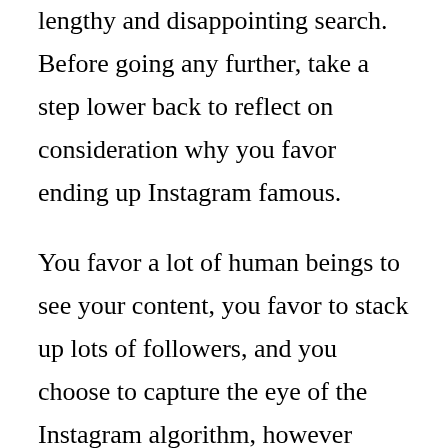lengthy and disappointing search. Before going any further, take a step lower back to reflect on consideration why you favor ending up Instagram famous.

You favor a lot of human beings to see your content, you favor to stack up lots of followers, and you choose to capture the eye of the Instagram algorithm, however why? Are you searching to promote greater merchandise and services? Are you planning and publishing the variety of content material you can monetize?